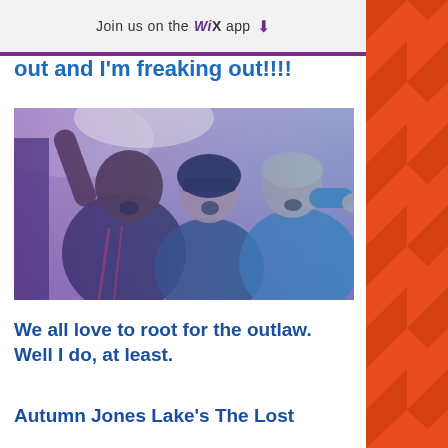Join us on the WiX app ↓
out and I'm freaking out!!!!
[Figure (photo): Three young people in a car, arms raised, mouths open, appearing to be celebrating or shouting excitedly. Photo has a purple/blue tinted overlay effect.]
We all love to root for the outlaw. Well I do, at least.
Autumn Jones Lake's The Lost